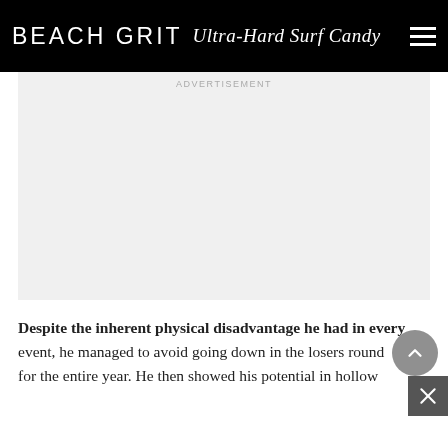BEACH GRIT Ultra-Hard Surf Candy
[Figure (other): Advertisement placeholder area with light gray background]
Despite the inherent physical disadvantage he had in every event, he managed to avoid going down in the losers round for the entire year. He then showed his potential in hollow